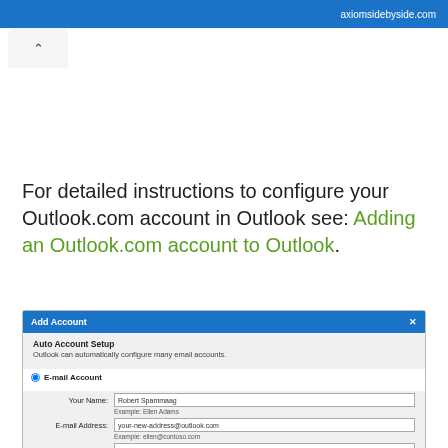axiomsidebyside.com
[Figure (screenshot): Arrow/back tab UI element]
For detailed instructions to configure your Outlook.com account in Outlook see: Adding an Outlook.com account to Outlook.
[Figure (screenshot): Outlook Add Account dialog screenshot showing Auto Account Setup with E-mail Account selected. Fields shown: Your Name (Robert Spammaag), E-mail Address (your-new-address@outlook.com), Password (dots), Retype Password (dots).]